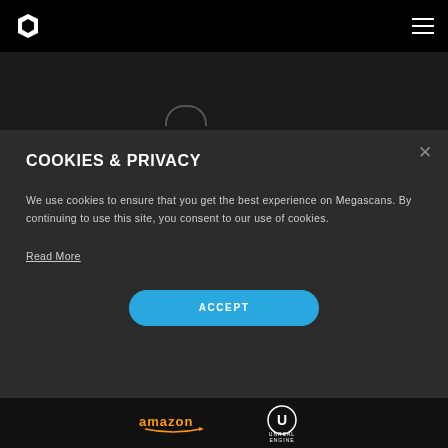Megascans navigation header with logo and menu
COOKIES & PRIVACY
We use cookies to ensure that you get the best experience on Megascans. By continuing to use this site, you consent to our use of cookies.
Read More
ACCEPT
[Figure (logo): Amazon logo at bottom footer]
[Figure (logo): Unreal Engine logo at bottom footer]